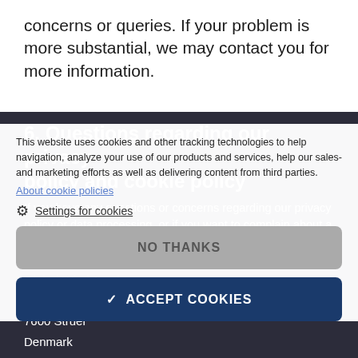concerns or queries. If your problem is more substantial, we may contact you for more information.
6. Questions regarding our privacy policy and cookie policy
If you have any questions or concerns regarding our privacy policy or data processing, or if you want to complain about a possible breach of legislation on the protection of personal data, please contact us at:
This website uses cookies and other tracking technologies to help navigation, analyze your use of our products and services, help our sales- and marketing efforts as well as delivering content from third parties.
About cookie policies
Settings for cookies
NO THANKS
ACCEPT COOKIES
Global Wind Academy
Sydkajer
7600 Struer
Denmark